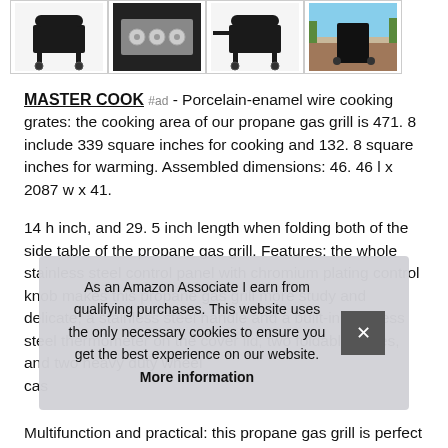[Figure (photo): Four product thumbnail images of a propane gas grill shown from different angles or close-ups]
MASTER COOK #ad - Porcelain-enamel wire cooking grates: the cooking area of our propane gas grill is 471. 8 include 339 square inches for cooking and 132. 8 square inches for warming. Assembled dimensions: 46. 46 l x 2087 w x 41.
14 h inch, and 29. 5 inch length when folding both of the side table of the propane gas grill. Features: the whole stainless steel control panel with chromium plating control knob makes this propane gas grill more study and delicate, a stainless steel handle and a built-in stainless steel thermometer on the cover lid, two foldable tables, and two heavy duty wheel cas
As an Amazon Associate I earn from qualifying purchases. This website uses the only necessary cookies to ensure you get the best experience on our website. More information
Multifunction and practical: this propane gas grill is perfect